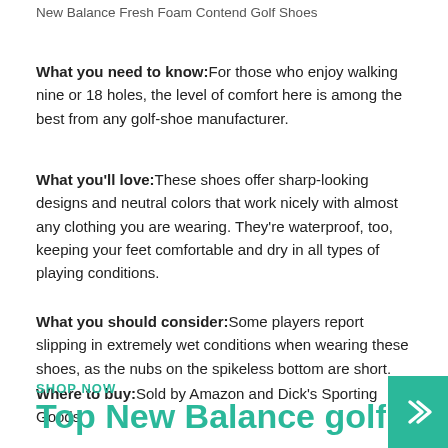New Balance Fresh Foam Contend Golf Shoes
What you need to know: For those who enjoy walking nine or 18 holes, the level of comfort here is among the best from any golf-shoe manufacturer.
What you'll love: These shoes offer sharp-looking designs and neutral colors that work nicely with almost any clothing you are wearing. They're waterproof, too, keeping your feet comfortable and dry in all types of playing conditions.
What you should consider: Some players report slipping in extremely wet conditions when wearing these shoes, as the nubs on the spikeless bottom are short.
Where to buy: Sold by Amazon and Dick's Sporting Goods
SHOP NOW
Top New Balance golf shoes fo